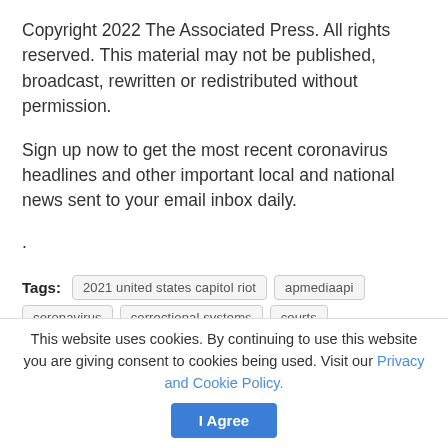Copyright 2022 The Associated Press. All rights reserved. This material may not be published, broadcast, rewritten or redistributed without permission.
Sign up now to get the most recent coronavirus headlines and other important local and national news sent to your email inbox daily.
.
Tags: 2021 united states capitol riot  apmediaapi  coronavirus  correctional systems  courts  COVID-19 pandemic  crime  dcc
This website uses cookies. By continuing to use this website you are giving consent to cookies being used. Visit our Privacy and Cookie Policy.  I Agree